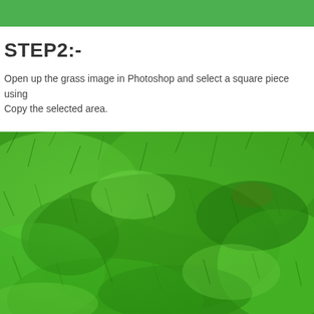STEP2:-
Open up the grass image in Photoshop and select a square piece using
Copy the selected area.
[Figure (photo): Close-up photograph of lush green grass, showing detailed grass blades from above at a slight angle. The grass is vibrant green with variations in shade and texture across the image.]